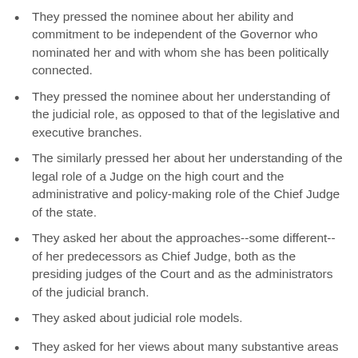They pressed the nominee about her ability and commitment to be independent of the Governor who nominated her and with whom she has been politically connected.
They pressed the nominee about her understanding of the judicial role, as opposed to that of the legislative and executive branches.
The similarly pressed her about her understanding of the legal role of a Judge on the high court and the administrative and policy-making role of the Chief Judge of the state.
They asked her about the approaches--some different--of her predecessors as Chief Judge, both as the presiding judges of the Court and as the administrators of the judicial branch.
They asked about judicial role models.
They asked for her views about many substantive areas of the law and about running the state's mammoth judicial branch.